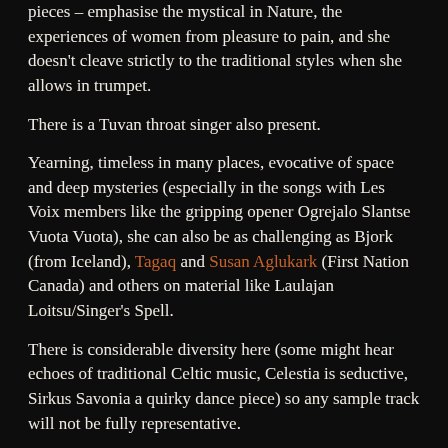pieces – emphasise the mystical in Nature, the experiences of women from pleasure to pain, and she doesn't cleave strictly to the traditional styles when she allows in trumpet.
There is a Tuvan throat singer also present.
Yearning, timeless in many places, evocative of space and deep mysteries (especially in the songs with Les Voix members like the gripping opener Ogrejalo Slantse Vuota Vuota), she can also be as challenging as Bjork (from Iceland), Tagaq and Susan Aglukark (First Nation Canada) and others on material like Laulajan Loitsu/Singer's Spell.
There is considerable diversity here (some might hear echoes of traditional Celtic music, Celestia is seductive, Sirkus Savonia a quirky dance piece) so any sample track will not be fully representative.
But here goes.
Sirkus Savonia
[Figure (other): Audio player bar with play button, time display 0:00 / 0:00, speaker icon, and three-dot menu icon on a light rounded rectangle background.]